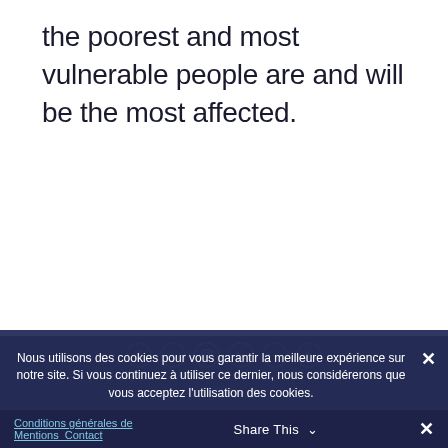the poorest and most vulnerable people are and will be the most affected.
Nous utilisons des cookies pour vous garantir la meilleure expérience sur notre site. Si vous continuez à utiliser ce dernier, nous considérerons que vous acceptez l'utilisation des cookies.
Conditions générales de Mentions Contact | Share This ✕